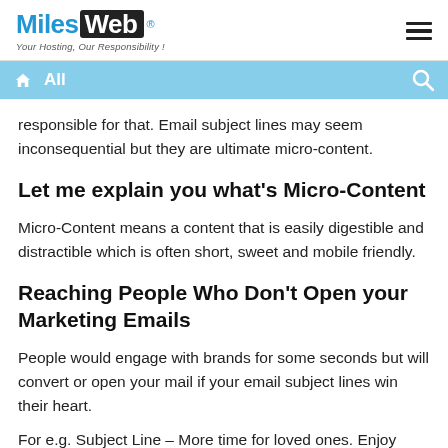MilesWeb® Your Hosting, Our Responsibility!
All
responsible for that. Email subject lines may seem inconsequential but they are ultimate micro-content.
Let me explain you what's Micro-Content
Micro-Content means a content that is easily digestible and distractible which is often short, sweet and mobile friendly.
Reaching People Who Don't Open your Marketing Emails
People would engage with brands for some seconds but will convert or open your mail if your email subject lines win their heart.
For e.g. Subject Line – More time for loved ones. Enjoy